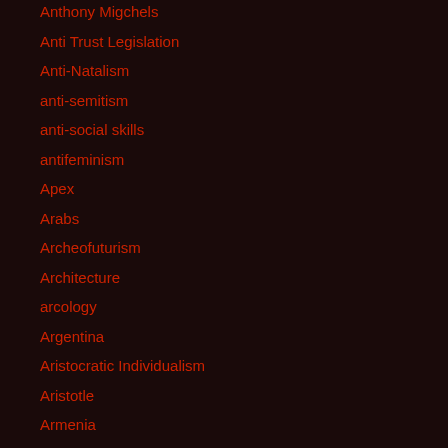Anthony Migchels
Anti Trust Legislation
Anti-Natalism
anti-semitism
anti-social skills
antifeminism
Apex
Arabs
Archeofuturism
Architecture
arcology
Argentina
Aristocratic Individualism
Aristotle
Armenia